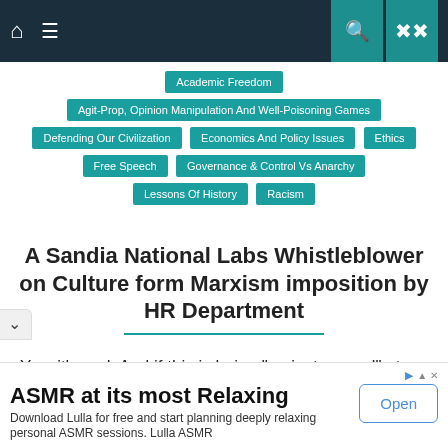Navigation bar with home, menu, search, and shuffle icons
Academic Freedom
Agit-Prop, Opinion Manipulation And Well-Poisoning Games
Defending Our Civilization
Economics And Policy Issues
Ethics
Free Speech
Governance & Control Vs Anarchy
Lessons Of History
Racism
A Sandia National Labs Whistleblower on Culture form Marxism imposition by HR Department
Yes, it’s real: And if this is being “mainstreamed” at Sandia National Labs, it’s going to be all but pervasive in [government] and in the sort of corporations that typically
ASMR at its most Relaxing
Download Lulla for free and start planning deeply relaxing personal ASMR sessions. Lulla ASMR
Open